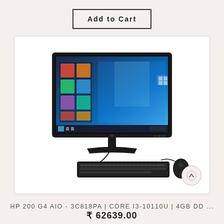Add to Cart
[Figure (photo): HP 200 G4 AIO all-in-one desktop computer with monitor displaying Windows 10 desktop, wired keyboard, and mouse on a white background]
HP 200 G4 AIO - 3C818PA | CORE I3-10110U | 4GB DD ...
₹ 62639.00